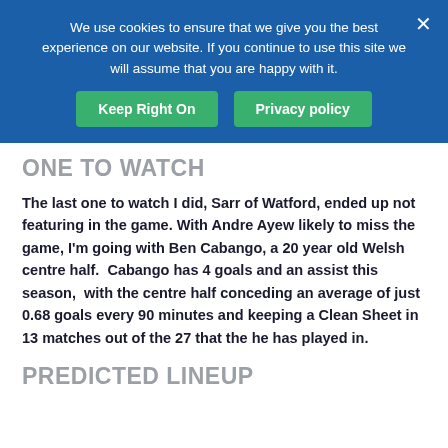We use cookies to ensure that we give you the best experience on our website. If you continue to use this site we will assume that you are happy with it.
Keep Right On | Privacy policy
ONE TO WATCH
The last one to watch I did, Sarr of Watford, ended up not featuring in the game. With Andre Ayew likely to miss the game, I'm going with Ben Cabango, a 20 year old Welsh centre half.  Cabango has 4 goals and an assist this season,  with the centre half conceding an average of just 0.68 goals every 90 minutes and keeping a Clean Sheet in 13 matches out of the 27 that the he has played in.
PREDICTED LINEUP